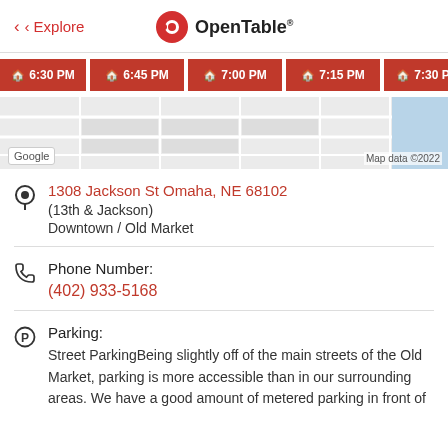< Explore | OpenTable
[Figure (screenshot): Row of red reservation time buttons: 6:30 PM, 6:45 PM, 7:00 PM, 7:15 PM, 7:30 PM]
[Figure (map): Google Maps partial screenshot showing street grid, with Google logo and Map data ©2022 credit]
1308 Jackson St Omaha, NE 68102
(13th & Jackson)
Downtown / Old Market
Phone Number:
(402) 933-5168
Parking:
Street ParkingBeing slightly off of the main streets of the Old Market, parking is more accessible than in our surrounding areas. We have a good amount of metered parking in front of